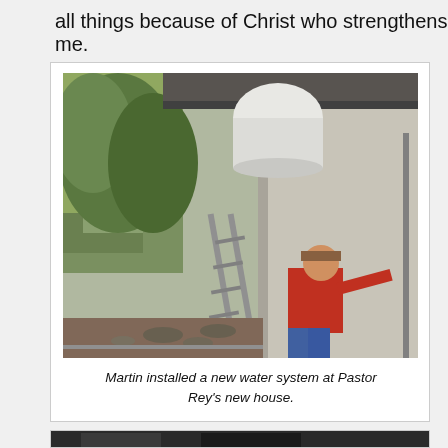all things because of Christ who strengthens me.
[Figure (photo): A man in a red shirt and jeans installs a water system pipe along the exterior concrete wall of a building. A ladder and trees are visible in the background. A large white water tank is visible at the top of the image.]
Martin installed a new water system at Pastor Rey's new house.
[Figure (photo): Partial view of a second photo, mostly dark, at the bottom of the page.]